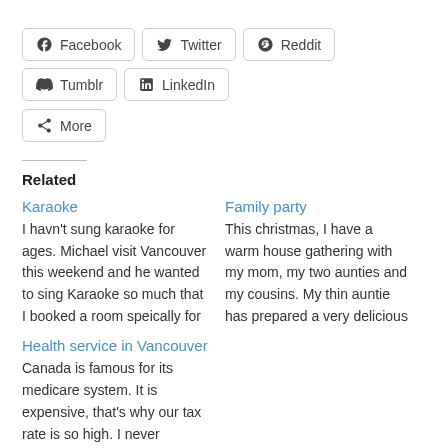Facebook Twitter Reddit Tumblr LinkedIn More
Related
Karaoke
I havn't sung karaoke for ages. Michael visit Vancouver this weekend and he wanted to sing Karaoke so much that I booked a room speically for
Family party
This christmas, I have a warm house gathering with my mom, my two aunties and my cousins. My thin auntie has prepared a very delicious
Health service in Vancouver
Canada is famous for its medicare system. It is expensive, that's why our tax rate is so high. I never understand why it cost so